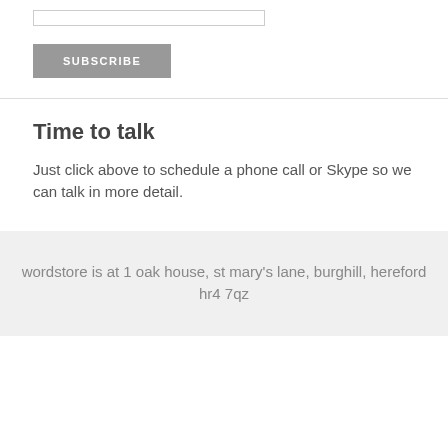[Figure (other): Input text field (subscribe form)]
SUBSCRIBE
Time to talk
Just click above to schedule a phone call or Skype so we can talk in more detail.
wordstore is at 1 oak house, st mary's lane, burghill, hereford hr4 7qz